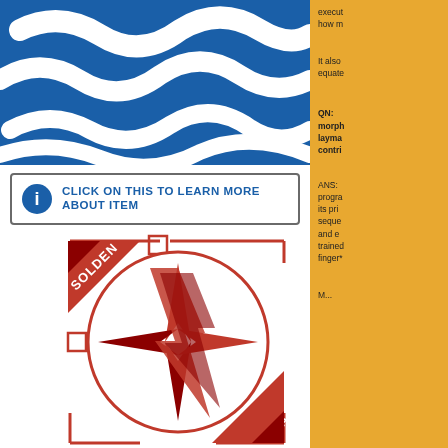[Figure (illustration): Blue banner with white wavy snake/worm shapes on a dark blue background, partially cropped at top]
[Figure (infographic): Click-on button bar with info icon and text: CLICK ON THIS TO LEARN MORE ABOUT ITEM]
[Figure (illustration): Red compass rose / lightning bolt logo inside a circle with crosshair target frame, 'SOLDEN' banner top-left, 'YLLA' banner bottom-right]
execut
how m
It also
equate
QN: morph layman contri
ANS: progra its pri seque and e trained finger*
M...